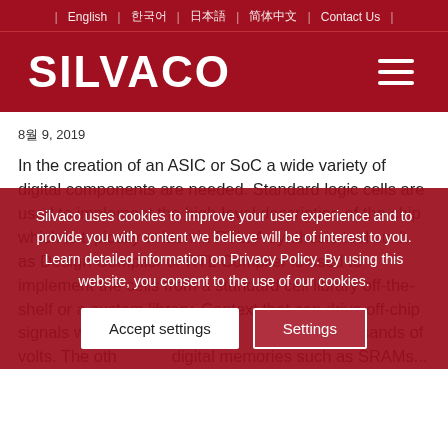English | 한국어 | 日本語 | 简体中文 | Contact Us
[Figure (logo): Silvaco logo in white text on dark red background with hamburger menu icon]
8월 9, 2019
In the creation of an ASIC or SoC a wide variety of digital components are needed. Standard logic cells are used to implement the high-level description of the chip which is typically written in RTL. A synthesis tool such as Design Compiler or RTL Compiler is used to implement the cells from a standard cell library off-the-shelf or a custom library. Content was overlaid by cookie banner. that can drive off-chip signals withstand electrostatic ... range of thousands of volts. The oth... digital memories such as SRAMs...
Silvaco uses cookies to improve your user experience and to provide you with content we believe will be of interest to you. Learn detailed information on Privacy Policy. By using this website, you consent to the use of our cookies.
Accept settings
Settings